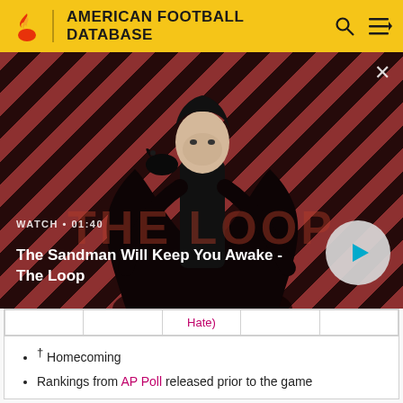AMERICAN FOOTBALL DATABASE
[Figure (screenshot): Video thumbnail showing a dark figure with a raven on their shoulder against a red diagonal stripe background, with title 'The Sandman Will Keep You Awake - The Loop', runtime 01:40, and a play button.]
|  |  | Hate) |  |  |
† Homecoming
Rankings from AP Poll released prior to the game
Sources: [1][2]